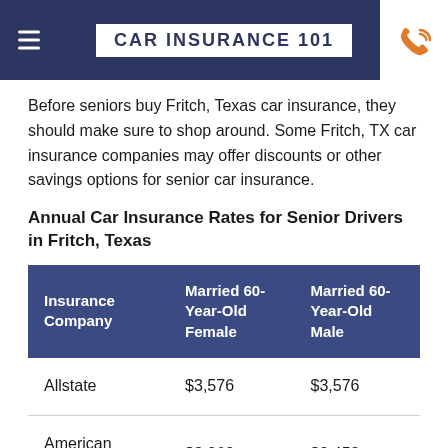CAR INSURANCE 101
Before seniors buy Fritch, Texas car insurance, they should make sure to shop around. Some Fritch, TX car insurance companies may offer discounts or other savings options for senior car insurance.
Annual Car Insurance Rates for Senior Drivers in Fritch, Texas
| Insurance Company | Married 60-Year-Old Female | Married 60-Year-Old Male |
| --- | --- | --- |
| Allstate | $3,576 | $3,576 |
| American Family | $3,063 | $3,453 |